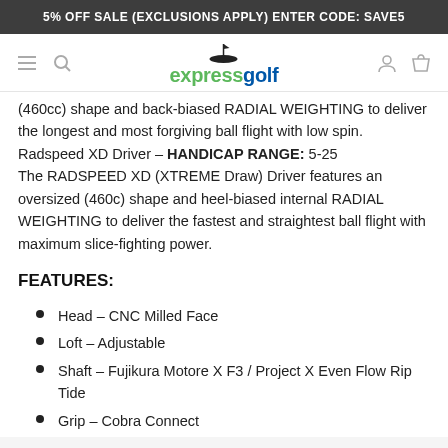5% OFF SALE (EXCLUSIONS APPLY) ENTER CODE: SAVE5
[Figure (logo): Express Golf logo with golf flag icon, 'express' in green and 'golf' in blue]
(460cc) shape and back-biased RADIAL WEIGHTING to deliver the longest and most forgiving ball flight with low spin.
Radspeed XD Driver – HANDICAP RANGE: 5-25
The RADSPEED XD (XTREME Draw) Driver features an oversized (460c) shape and heel-biased internal RADIAL WEIGHTING to deliver the fastest and straightest ball flight with maximum slice-fighting power.
FEATURES:
Head – CNC Milled Face
Loft – Adjustable
Shaft – Fujikura Motore X F3 / Project X Even Flow Rip Tide
Grip – Cobra Connect